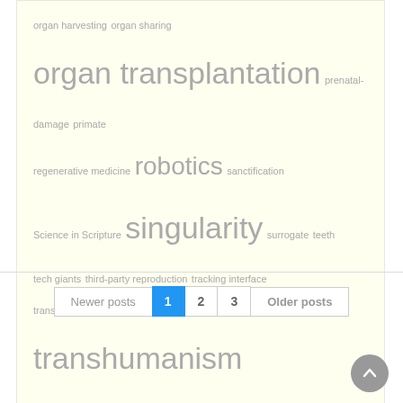organ harvesting  organ sharing  organ transplantation  prenatal-damage  primate  regenerative medicine  robotics  sanctification  Science in Scripture  singularity  surrogate  teeth  tech giants  third-party reproduction  tracking interface  transgender ideology  transgenics  transhumanism  vaccine dangers  WiFi dangers
Newer posts  1  2  3  Older posts